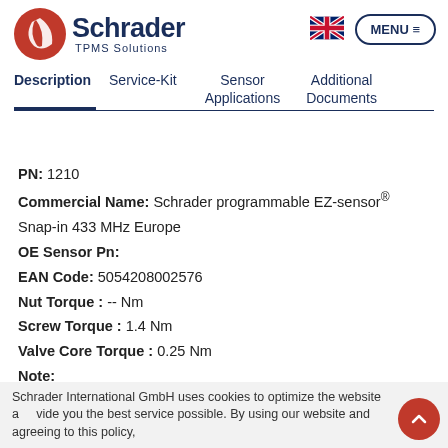[Figure (logo): Schrader TPMS Solutions logo with red circular icon and dark blue text]
[Figure (illustration): UK flag icon]
MENU ≡
Description | Service-Kit | Sensor Applications | Additional Documents
PN: 1210
Commercial Name: Schrader programmable EZ-sensor® Snap-in 433 MHz Europe
OE Sensor Pn:
EAN Code: 5054208002576
Nut Torque : -- Nm
Screw Torque : 1.4 Nm
Valve Core Torque : 0.25 Nm
Note:
Schrader International GmbH uses cookies to optimize the website and provide you the best service possible. By using our website and agreeing to this policy,